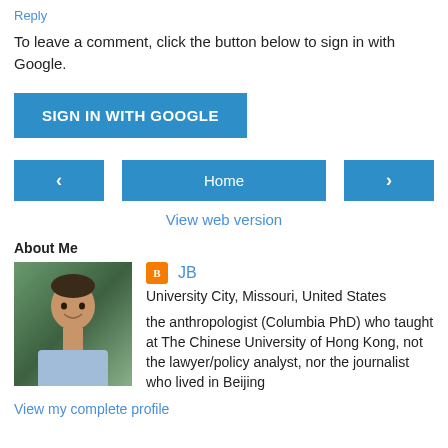Reply
To leave a comment, click the button below to sign in with Google.
[Figure (other): SIGN IN WITH GOOGLE button (blue rectangular button)]
[Figure (other): Navigation row with left arrow button, Home button, and right arrow button]
View web version
About Me
[Figure (photo): Profile photo of JB - a man smiling, wearing a light blue shirt, with tropical foliage background]
JB
University City, Missouri, United States
the anthropologist (Columbia PhD) who taught at The Chinese University of Hong Kong, not the lawyer/policy analyst, nor the journalist who lived in Beijing
View my complete profile